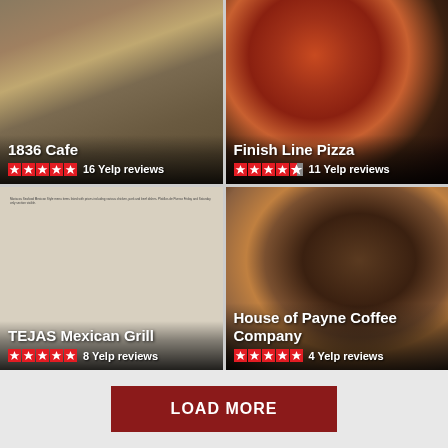[Figure (photo): 1836 Cafe food photo with 5-star rating and 16 Yelp reviews]
[Figure (photo): Finish Line Pizza food photo with 4.5-star rating and 11 Yelp reviews]
[Figure (photo): TEJAS Mexican Grill menu photo with 5-star rating and 8 Yelp reviews]
[Figure (photo): House of Payne Coffee Company espresso photo with 5-star rating and 4 Yelp reviews]
LOAD MORE